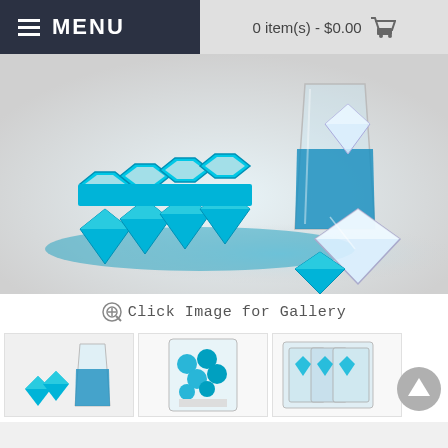MENU   0 item(s) - $0.00
[Figure (photo): Diamond-shaped silicone ice cube tray in teal/cyan color with multiple diamond-shaped cavities, shown alongside a glass with blue liquid containing a diamond ice cube, and two clear diamond-shaped ice cubes on a white/gradient background.]
Click Image for Gallery
[Figure (photo): Thumbnail 1: Diamond ice tray product with small diamonds and a glass of blue liquid]
[Figure (photo): Thumbnail 2: Packaged diamond ice tray product in retail packaging]
[Figure (photo): Thumbnail 3: Display box with multiple packaged diamond ice tray products]